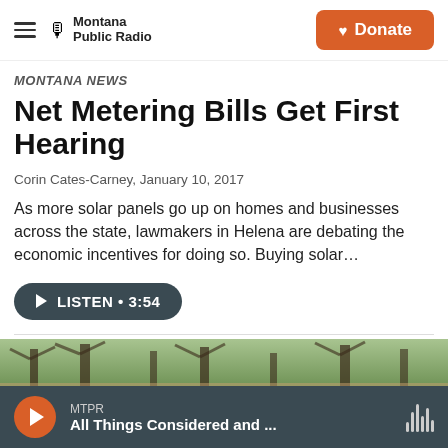Montana Public Radio — Donate
Montana News
Net Metering Bills Get First Hearing
Corin Cates-Carney,  January 10, 2017
As more solar panels go up on homes and businesses across the state, lawmakers in Helena are debating the economic incentives for doing so. Buying solar…
[Figure (other): Listen button: play icon, LISTEN • 3:54]
[Figure (photo): Photo strip showing trees and outdoor scenery]
MTPR — All Things Considered and ...